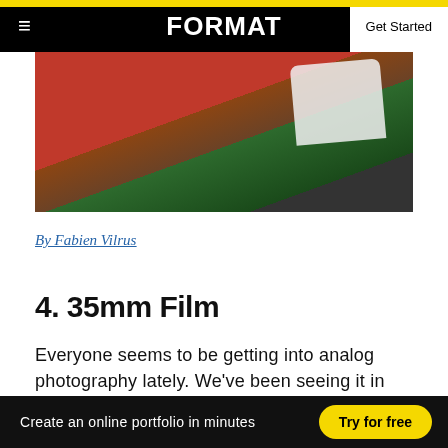FORMAT | Get Started
[Figure (photo): Overhead photo of two people, one in a red garment and one in a white long-sleeve top, reaching into a dark planter box with green plants.]
By Fabien Vilrus
4. 35mm Film
Everyone seems to be getting into analog photography lately. We've been seeing it in fashion, shoots and fine art photos alike
Create an online portfolio in minutes   Try for free